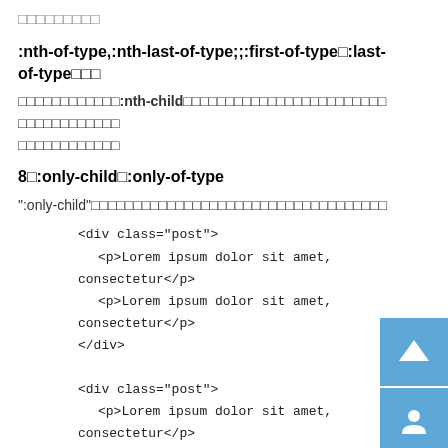□□□□□□□□□
:nth-of-type,:nth-last-of-type;;:first-of-type□:last-of-type□□□
□□□□□□□□□□□□:nth-child□□□□□□□□□□□□□□□□□□□□□□□□ □□□□□□□□□□□□□□□□□□□□□□□□□
8□:only-child□:only-of-type
":only-child"□□□□□□□□□□□□□□□□□□□□□□□□□□□□□□□□□□□
<div class="post">
    <p>Lorem ipsum dolor sit amet, consectetur</p>
    <p>Lorem ipsum dolor sit amet, consectetur</p>
</div>
<div class="post">
    <p>Lorem ipsum dolor sit amet, consectetur</p>
</div>